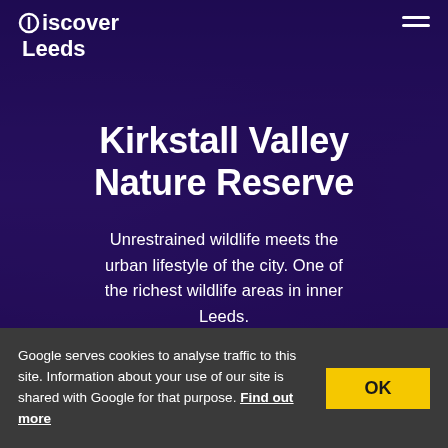[Figure (screenshot): Hero banner with deep purple background showing faint tree silhouettes, containing the Discover Leeds logo in the top left and a hamburger menu icon in the top right.]
Kirkstall Valley Nature Reserve
Unrestrained wildlife meets the urban lifestyle of the city. One of the richest wildlife areas in inner Leeds.
Google serves cookies to analyse traffic to this site. Information about your use of our site is shared with Google for that purpose. Find out more